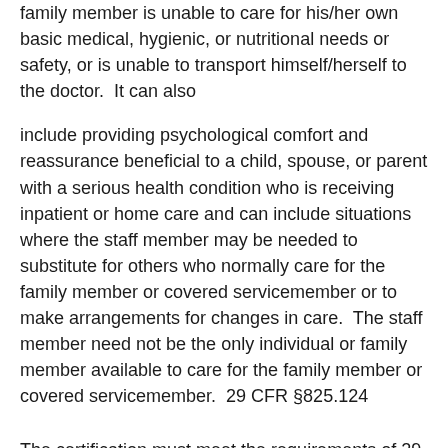family member is unable to care for his/her own basic medical, hygienic, or nutritional needs or safety, or is unable to transport himself/herself to the doctor.  It can also
include providing psychological comfort and reassurance beneficial to a child, spouse, or parent with a serious health condition who is receiving inpatient or home care and can include situations where the staff member may be needed to substitute for others who normally care for the family member or covered servicemember or to make arrangements for changes in care.  The staff member need not be the only individual or family member available to care for the family member or covered servicemember.  29 CFR §825.124
The certification must meet the requirements of 29 CFR §§825.306, 309, and 310 to include: which part of